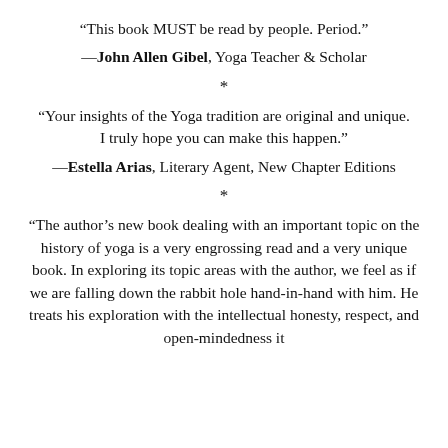“This book MUST be read by people. Period.”
—John Allen Gibel, Yoga Teacher & Scholar
*
“Your insights of the Yoga tradition are original and unique. I truly hope you can make this happen.”
—Estella Arias, Literary Agent, New Chapter Editions
*
“The author’s new book dealing with an important topic on the history of yoga is a very engrossing read and a very unique book. In exploring its topic areas with the author, we feel as if we are falling down the rabbit hole hand-in-hand with him. He treats his exploration with the intellectual honesty, respect, and open-mindedness it